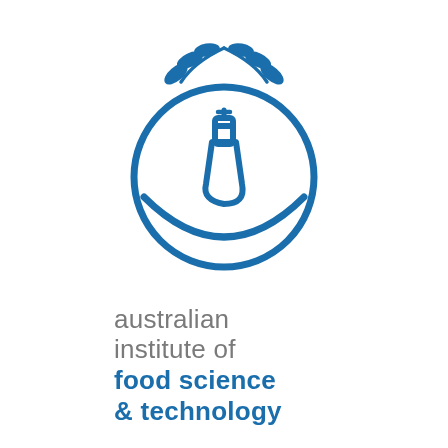[Figure (logo): Australian Institute of Food Science & Technology logo. Blue illustration showing a circular eye/leaf shape with a laboratory flask in the center and wheat/laurel leaves arching over the top. Below the graphic, two lines in gray read 'australian institute of' and two lines in bold blue read 'food science & technology'.]